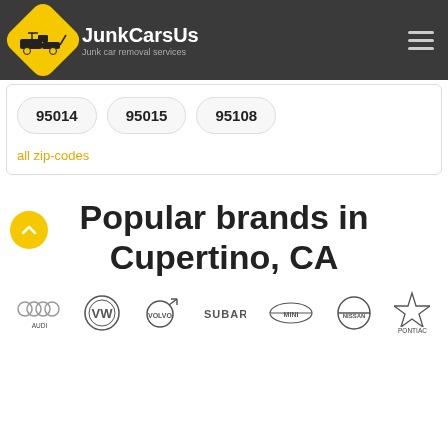JunkCarsUs – Junk car removal services
95014
95015
95108
all zip-codes
Popular brands in Cupertino, CA
[Figure (logo): Car brand logos row: Audi, Volkswagen, Volvo, Subaru, Mini, Nissan, Pontiac]